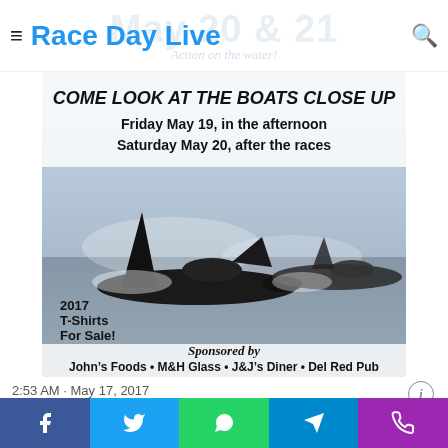Race Day Live
[Figure (photo): Event flyer showing hydroplane boats racing on water. Text on flyer: 'COME LOOK AT THE BOATS CLOSE UP', 'Friday May 19, in the afternoon', 'Saturday May 20, after the races', '2017 T-Shirts For Sale!', 'Sponsored by', 'John's Foods • M&H Glass • J&J's Diner • Del Red Pub'. Background shows May 20 & 21 watermark text and 'Action on the water!' tagline.]
2:53 AM · May 17, 2017
♡ 3   Reply   Copy link